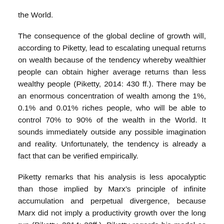the World.
The consequence of the global decline of growth will, according to Piketty, lead to escalating unequal returns on wealth because of the tendency whereby wealthier people can obtain higher average returns than less wealthy people (Piketty, 2014: 430 ff.). There may be an enormous concentration of wealth among the 1%, 0.1% and 0.01% riches people, who will be able to control 70% to 90% of the wealth in the World. It sounds immediately outside any possible imagination and reality. Unfortunately, the tendency is already a fact that can be verified empirically.
Piketty remarks that his analysis is less apocalyptic than those implied by Marx’s principle of infinite accumulation and perpetual divergence, because Marx did not imply a productivity growth over the long run (Piketty, 2014: 22ff.). Piketty regards his model as being more open because divergence is not perpetual and only one of several possible